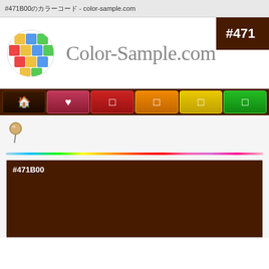#471B00のカラーコード - color-sample.com
[Figure (logo): Color-Sample.com colorful grid circle logo]
Color-Sample.com
#471
[Figure (infographic): Navigation bar with home, favorite, red, orange, yellow, green buttons on dark brown background]
[Figure (infographic): Push pin icon]
[Figure (infographic): Rainbow gradient color bar]
#471B00